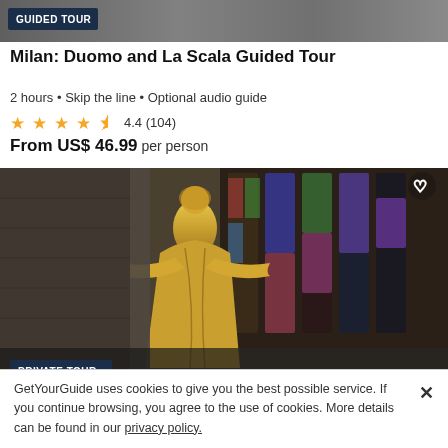[Figure (photo): Top portion of a building/cathedral image with a 'GUIDED TOUR' badge overlay]
Milan: Duomo and La Scala Guided Tour
2 hours • Skip the line • Optional audio guide
★★★★½ 4.4 (104)
From US$ 46.99 per person
[Figure (photo): Gold statue of a religious figure with arms outstretched, colorful stained glass windows in the background, with a 'PRIVATE TOUR' badge and heart icon]
Milan: 3-Hour City Highlights Walking Tour
3 hours • Skip the line
★★★★½ 4.5 (44)
From US$ 220.96 per group up to 6
GetYourGuide uses cookies to give you the best possible service. If you continue browsing, you agree to the use of cookies. More details can be found in our privacy policy.